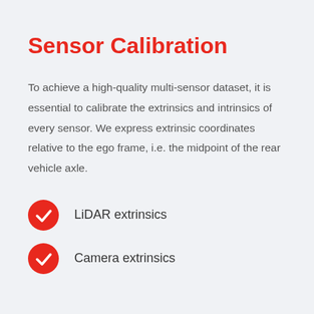Sensor Calibration
To achieve a high-quality multi-sensor dataset, it is essential to calibrate the extrinsics and intrinsics of every sensor. We express extrinsic coordinates relative to the ego frame, i.e. the midpoint of the rear vehicle axle.
LiDAR extrinsics
Camera extrinsics